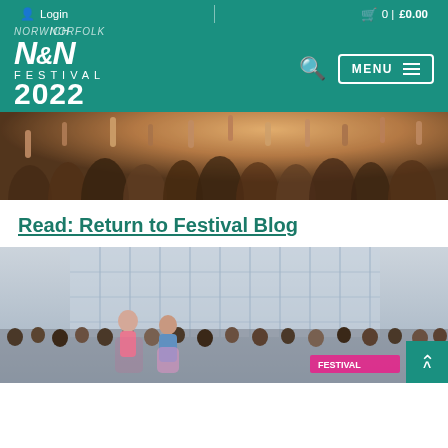Login | 0 | £0.00
[Figure (logo): N&N Festival 2022 logo in white on teal background with search icon and MENU button]
[Figure (photo): Concert crowd with hands raised in warm evening light]
Read: Return to Festival Blog
[Figure (photo): Street performance outdoors with two performers in colourful clothing in front of a large crowd against a glass building backdrop]